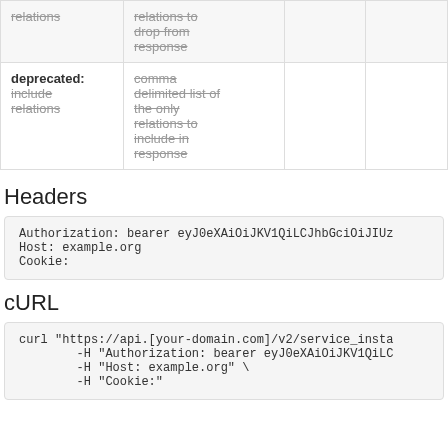|  |  |  |  |
| --- | --- | --- | --- |
| relations | relations to drop from response |  |  |
| deprecated: include relations | comma delimited list of the only relations to include in response |  |  |
Headers
Authorization: bearer eyJ0eXAiOiJKV1QiLCJhbGciOiJIUz
Host: example.org
Cookie:
cURL
curl "https://api.[your-domain.com]/v2/service_insta
        -H "Authorization: bearer eyJ0eXAiOiJKV1QiLCJhbGciOiJIUz
        -H "Host: example.org" \
        -H "Cookie:"